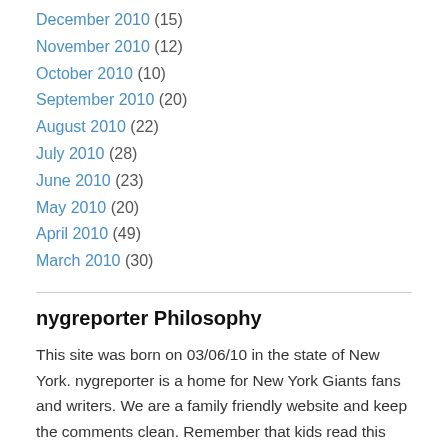December 2010 (15)
November 2010 (12)
October 2010 (10)
September 2010 (20)
August 2010 (22)
July 2010 (28)
June 2010 (23)
May 2010 (20)
April 2010 (49)
March 2010 (30)
nygreporter Philosophy
This site was born on 03/06/10 in the state of New York. nygreporter is a home for New York Giants fans and writers. We are a family friendly website and keep the comments clean. Remember that kids read this stuff too. This is a place where football fans can come and go as they please, without any headaches. We are a destination for NFL fans who want real analysis and original opinion articles about the New York